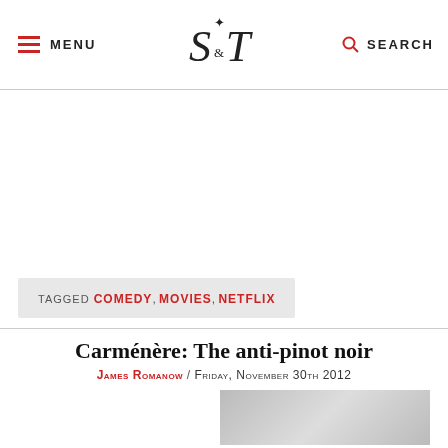MENU | S&T Logo | SEARCH
TAGGED COMEDY, MOVIES, NETFLIX
Carménère: The anti-pinot noir
James Romanow / Friday, November 30th 2012
[Figure (photo): Partial bottom image strip, appears to be a photo related to the article]